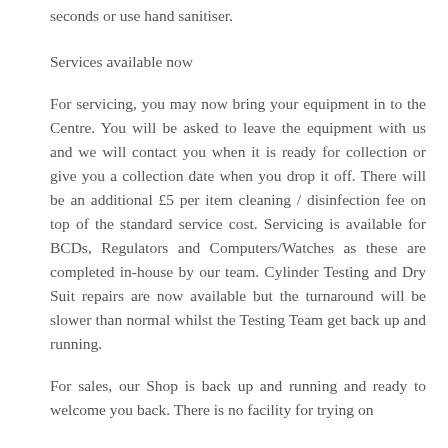seconds or use hand sanitiser.
Services available now
For servicing, you may now bring your equipment in to the Centre. You will be asked to leave the equipment with us and we will contact you when it is ready for collection or give you a collection date when you drop it off. There will be an additional £5 per item cleaning / disinfection fee on top of the standard service cost. Servicing is available for BCDs, Regulators and Computers/Watches as these are completed in-house by our team. Cylinder Testing and Dry Suit repairs are now available but the turnaround will be slower than normal whilst the Testing Team get back up and running.
For sales, our Shop is back up and running and ready to welcome you back. There is no facility for trying on